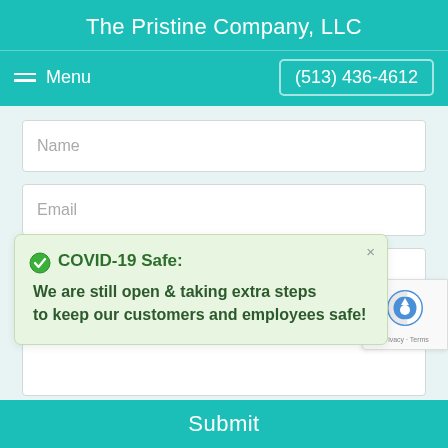The Pristine Company, LLC
Menu  (513) 436-4612
Name
Email
COVID-19 Safe: We are still open & taking extra steps to keep our customers and employees safe!
Enter Your Message
Submit